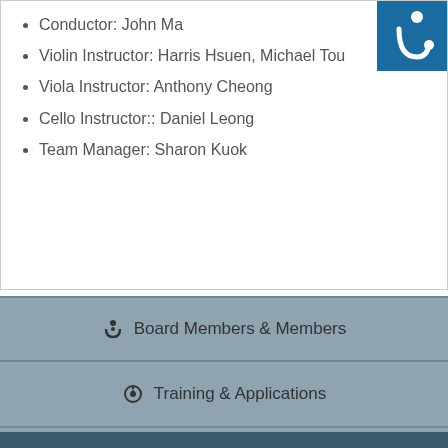Conductor: John Ma
Violin Instructor: Harris Hsuen, Michael Tou
Viola Instructor: Anthony Cheong
Cello Instructor:: Daniel Leong
Team Manager: Sharon Kuok
Board Members & Members
Training & Applications
Performances & Activities
Gallery